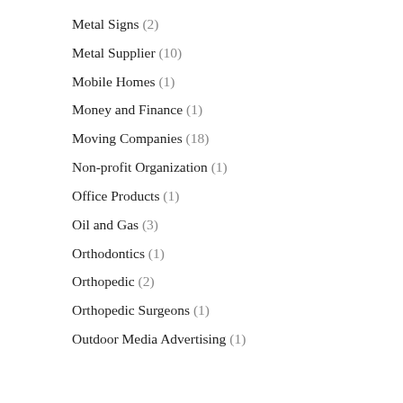Metal Signs (2)
Metal Supplier (10)
Mobile Homes (1)
Money and Finance (1)
Moving Companies (18)
Non-profit Organization (1)
Office Products (1)
Oil and Gas (3)
Orthodontics (1)
Orthopedic (2)
Orthopedic Surgeons (1)
Outdoor Media Advertising (1)